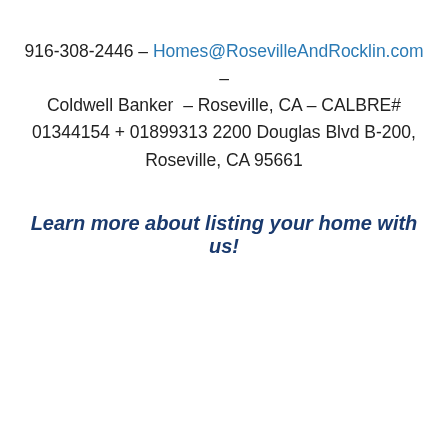916-308-2446 – Homes@RosevilleAndRocklin.com – Coldwell Banker  – Roseville, CA – CALBRE# 01344154 + 01899313 2200 Douglas Blvd B-200, Roseville, CA 95661
Learn more about listing your home with us!